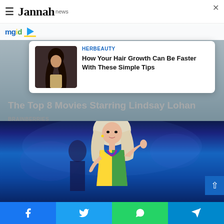Jannah news
[Figure (screenshot): MGID advertisement bar with logo]
[Figure (infographic): Sponsored ad card from HerBeauty: 'How Your Hair Growth Can Be Faster With These Simple Tips' with thumbnail of woman with long curly dark hair]
The Top 8 Movies Starring Lindsay Lohan
BRAINBERRIES
[Figure (photo): Female performer on stage with platinum blonde hair wearing colorful geometric outfit, blue stage lighting]
Facebook | Twitter | WhatsApp | Telegram share buttons